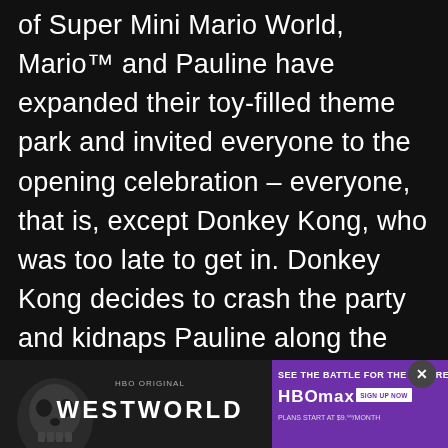of Super Mini Mario World, Mario™ and Pauline have expanded their toy-filled theme park and invited everyone to the opening celebration – everyone, that is, except Donkey Kong, who was too late to get in. Donkey Kong decides to crash the party and kidnaps Pauline along the way. Can Mario and his Mini Marios rescue Pauline from Donkey Kong's clutches yet again? Make sure to explore the Construction Zone, where you'll find all the tools needed to make your own original levels. You can then share your masterpieces or download levels created by o...
[Figure (infographic): Westworld HBO Max advertisement banner. Left side shows a dark background with a robot skull image and the HBO Original / WESTWORLD logo. Right side is purple with text 'SEE THE BATTLE FOR THE FUTURE', HBO Max logo, and 'PLANS START AT $9.99/MONTH'. A close button (X) appears at top right.]